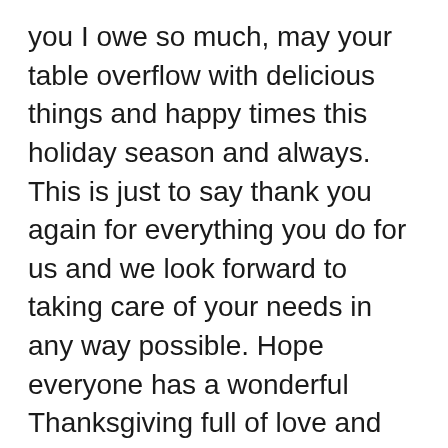you I owe so much, may your table overflow with delicious things and happy times this holiday season and always. This is just to say thank you again for everything you do for us and we look forward to taking care of your needs in any way possible. Hope everyone has a wonderful Thanksgiving full of love and laughter. #11 Happy Thanksgiving Wishes To my favorite clients, may this Thanksgiving bring you many reasons to be thankful! I am most grateful for your support and hope that our relationship can continue to flourish in the coming year. May all